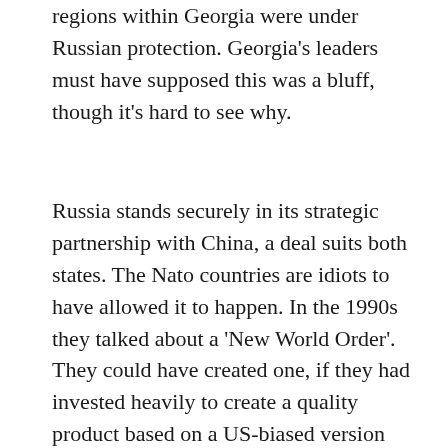regions within Georgia were under Russian protection. Georgia's leaders must have supposed this was a bluff, though it's hard to see why.
Russia stands securely in its strategic partnership with China, a deal suits both states. The Nato countries are idiots to have allowed it to happen. In the 1990s they talked about a 'New World Order'. They could have created one, if they had invested heavily to create a quality product based on a US-biased version honesty and human concern. They did some of that in the Keynesian era and won the Cold War on the strength of it.